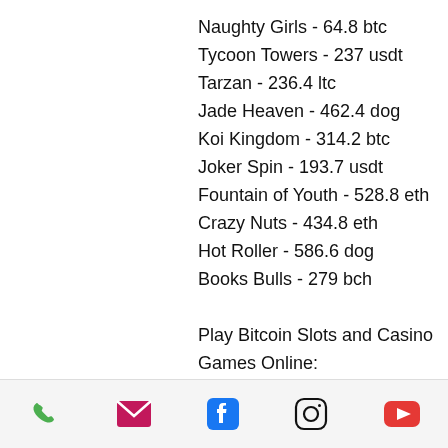Naughty Girls - 64.8 btc
Tycoon Towers - 237 usdt
Tarzan - 236.4 ltc
Jade Heaven - 462.4 dog
Koi Kingdom - 314.2 btc
Joker Spin - 193.7 usdt
Fountain of Youth - 528.8 eth
Crazy Nuts - 434.8 eth
Hot Roller - 586.6 dog
Books Bulls - 279 bch
Play Bitcoin Slots and Casino Games Online:
King Billy Casino Jade Charms
Bitcasino.io The Mummy 2018
Bspin.io Casino Mona Lisa Jewels
BitcoinCasino.us USSR Seventies
Sportsbet.io Beauty and the Beast
phone, email, facebook, instagram, youtube icons